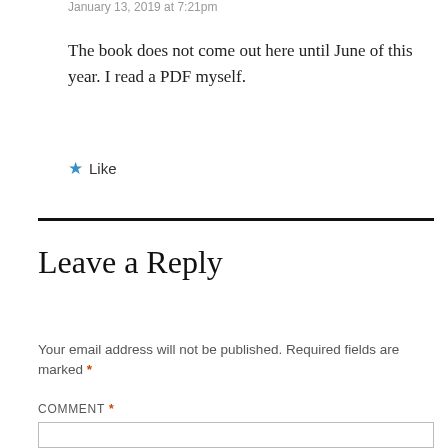January 13, 2019 at 7:21 pm
The book does not come out here until June of this year. I read a PDF myself.
★ Like
Leave a Reply
Your email address will not be published. Required fields are marked *
COMMENT *